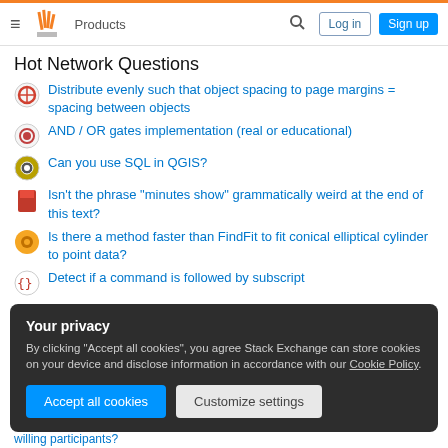≡  Stack Overflow  Products  🔍  Log in  Sign up
Hot Network Questions
Distribute evenly such that object spacing to page margins = spacing between objects
AND / OR gates implementation (real or educational)
Can you use SQL in QGIS?
Isn't the phrase "minutes show" grammatically weird at the end of this text?
Is there a method faster than FindFit to fit conical elliptical cylinder to point data?
Detect if a command is followed by subscript
Your privacy
By clicking "Accept all cookies", you agree Stack Exchange can store cookies on your device and disclose information in accordance with our Cookie Policy.
[Accept all cookies] [Customize settings]
willing participants?